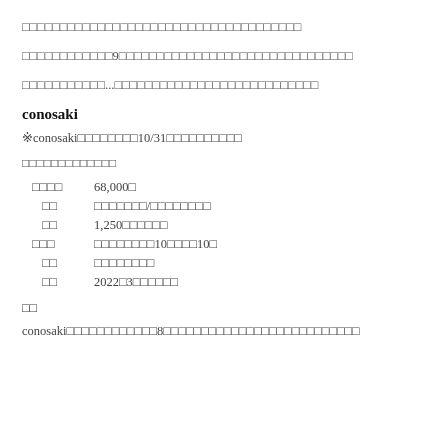□□□□□□□□□□□□□□□□□□□□□□□□□□□□□□□□□□□□□
□□□□□□□□□□□□9□□□□□□□□□□□□□□□□□□□□□□□□□□□□□□□
□□□□□□□□□□□...□□□□□□□□□□□□□□□□□□□□□□□□□□□
conosaki
※conosaki□□□□□□□□10/31□□□□□□□□□□
□□□□□□□□□□□□□
| □□□□ | 68,000□ |
| □□ | □□□□□□□/□□□□□□□□ |
| □□ | 1,250□□□□□□ |
| □□□ | □□□□□□□□10□□□□10□ |
| □□ | □□□□□□□□ |
| □□ | 2022□3□□□□□□ |
□□
conosaki□□□□□□□□□□□□8□□□□□□□□□□□□□□□□□□□□□□□□□□